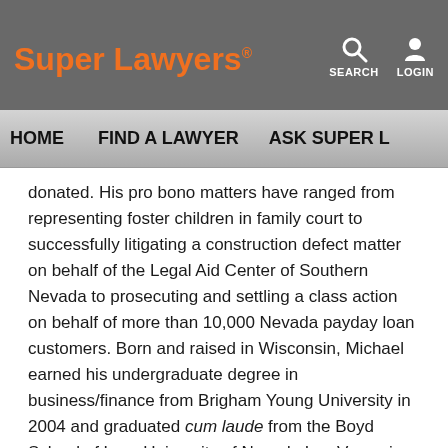Super Lawyers
SEARCH  LOGIN
HOME   FIND A LAWYER   ASK SUPER L
donated. His pro bono matters have ranged from representing foster children in family court to successfully litigating a construction defect matter on behalf of the Legal Aid Center of Southern Nevada to prosecuting and settling a class action on behalf of more than 10,000 Nevada payday loan customers. Born and raised in Wisconsin, Michael earned his undergraduate degree in business/finance from Brigham Young University in 2004 and graduated cum laude from the Boyd School of Law, University of Nevada Las Vegas in 2008. He is admitted in Nevada state and federal courts and the Supreme Court of the United States.